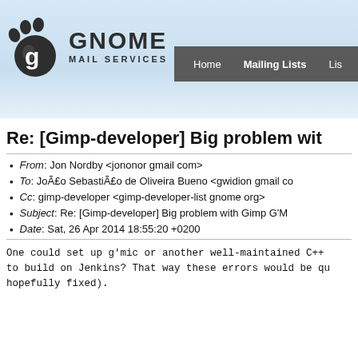GNOME MAIL SERVICES — Home | Mailing Lists | Lis…
Re: [Gimp-developer] Big problem wit…
From: Jon Nordby <jononor gmail com>
To: João Sebastião de Oliveira Bueno <gwidion gmail co…
Cc: gimp-developer <gimp-developer-list gnome org>
Subject: Re: [Gimp-developer] Big problem with Gimp G'M…
Date: Sat, 26 Apr 2014 18:55:20 +0200
One could set up g'mic or another well-maintained C++ to build on Jenkins? That way these errors would be qu… hopefully fixed).